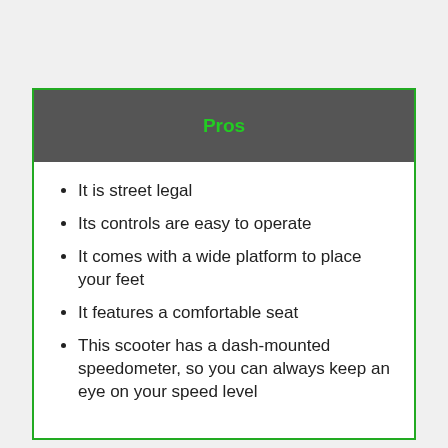Pros
It is street legal
Its controls are easy to operate
It comes with a wide platform to place your feet
It features a comfortable seat
This scooter has a dash-mounted speedometer, so you can always keep an eye on your speed level